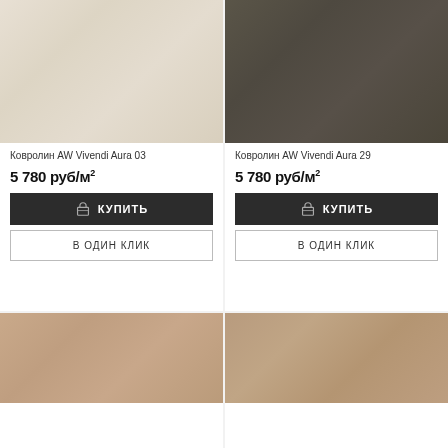[Figure (photo): Carpet texture - cream/beige color, AW Vivendi Aura 03]
Ковролин AW Vivendi Aura 03
5 780 руб/м²
КУПИТЬ
В ОДИН КЛИК
[Figure (photo): Carpet texture - dark olive/khaki color, AW Vivendi Aura 29]
Ковролин AW Vivendi Aura 29
5 780 руб/м²
КУПИТЬ
В ОДИН КЛИК
[Figure (photo): Carpet texture - beige/tan color, bottom left]
[Figure (photo): Carpet texture - beige/tan color, bottom right]